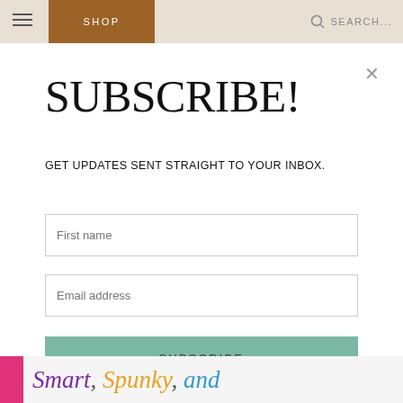SHOP | SEARCH...
SUBSCRIBE!
GET UPDATES SENT STRAIGHT TO YOUR INBOX.
First name
Email address
SUBSCRIBE
Smart, Spunky, and